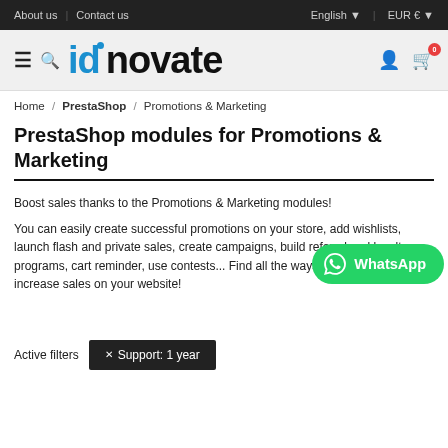About us | Contact us | English ▾ | EUR € ▾
[Figure (logo): idnovate logo with blue 'id' and black 'novate' text, hamburger menu and search icons on left, user and cart icons on right]
Home / PrestaShop / Promotions & Marketing
PrestaShop modules for Promotions & Marketing
Boost sales thanks to the Promotions & Marketing modules!
You can easily create successful promotions on your store, add wishlists, launch flash and private sales, create campaigns, build referral and loyalty programs, cart reminder, use contests... Find all the ways to promote and increase sales on your website!
Active filters   ✕ Support: 1 year